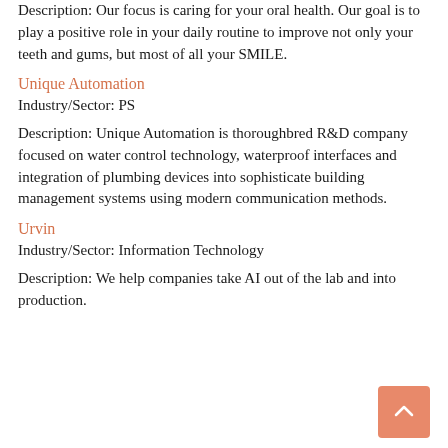Description: Our focus is caring for your oral health. Our goal is to play a positive role in your daily routine to improve not only your teeth and gums, but most of all your SMILE.
Unique Automation
Industry/Sector: PS
Description: Unique Automation is thoroughbred R&D company focused on water control technology, waterproof interfaces and integration of plumbing devices into sophisticate building management systems using modern communication methods.
Urvin
Industry/Sector: Information Technology
Description: We help companies take AI out of the lab and into production.